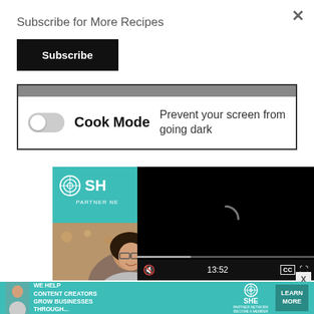Subscribe for More Recipes
Subscribe
[Figure (screenshot): Cook Mode toggle bar with a grey progress bar at top, a toggle switch (off), bold text 'Cook Mode', and description 'Prevent your screen from going dark']
[Figure (screenshot): Video player showing black screen with loading spinner and controls showing 13:52, muted speaker icon, CC button, and fullscreen button]
[Figure (screenshot): SHE Partner Network advertisement showing teal background with logo and a smiling woman with glasses]
[Figure (screenshot): Bottom banner advertisement: 'WE HELP CONTENT CREATORS GROW BUSINESSES THROUGH...' with SHE Partner Network logo and LEARN MORE button]